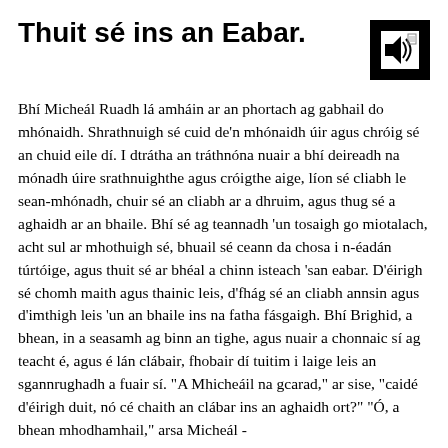Thuit sé ins an Eabar.
[Figure (illustration): Small icon/logo showing a speaker or sound symbol with lines, in a black bordered box]
Bhí Micheál Ruadh lá amháin ar an phortach ag gabhail do mhónaidh. Shrathnuigh sé cuid de'n mhónaidh úir agus chróig sé an chuid eile dí. I dtrátha an tráthnóna nuair a bhí deireadh na mónadh úire srathnuighthe agus cróigthe aige, líon sé cliabh le sean-mhónadh, chuir sé an cliabh ar a dhruim, agus thug sé a aghaidh ar an bhaile. Bhí sé ag teannadh 'un tosaigh go miotalach, acht sul ar mhothuigh sé, bhuail sé ceann da chosa i n-éadán túrtóige, agus thuit sé ar bhéal a chinn isteach 'san eabar. D'éirigh sé chomh maith agus thainic leis, d'fhág sé an cliabh annsin agus d'imthigh leis 'un an bhaile ins na fatha fásgaigh. Bhí Brighid, a bhean, in a seasamh ag binn an tighe, agus nuair a chonnaic sí ag teacht é, agus é lán clábair, fhobair dí tuitim i laige leis an sgannrughadh a fuair sí. "A Mhicheáil na gcarad," ar sise, "caidé d'éirigh duit, nó cé chaith an clábar ins an aghaidh ort?" "Ó, a bhean mhodhamhail," arsa Micheál -
"Bhí ualach ar mo dhruim,